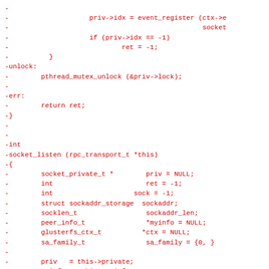Code diff showing removed lines from a C source file including socket_listen function